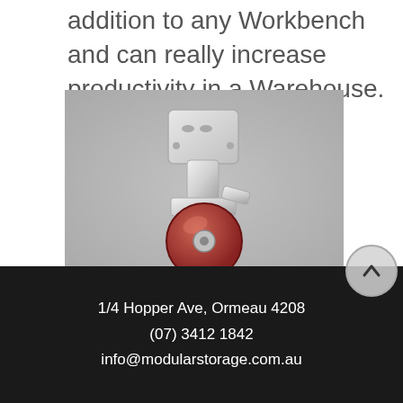addition to any Workbench and can really increase productivity in a Warehouse.
[Figure (photo): A close-up photo of a red wheeled caster/castor with a silver/chrome metal bracket and mounting plate, photographed on a grey surface.]
1/4 Hopper Ave, Ormeau 4208
(07) 3412 1842
info@modularstorage.com.au